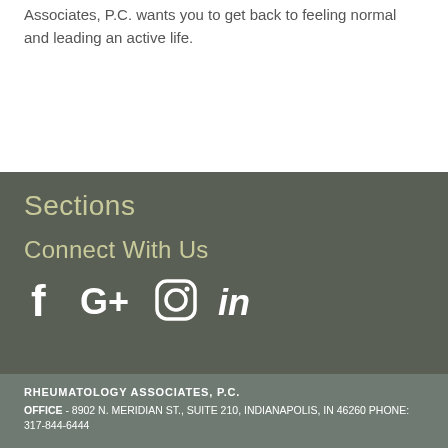Associates, P.C. wants you to get back to feeling normal and leading an active life.
Sections
Connect With Us
[Figure (infographic): Social media icons: Facebook, Google+, Instagram, LinkedIn]
RHEUMATOLOGY ASSOCIATES, P.C. OFFICE - 8902 N. MERIDIAN ST., SUITE 210, INDIANAPOLIS, IN 46260 PHONE: 317-844-6444